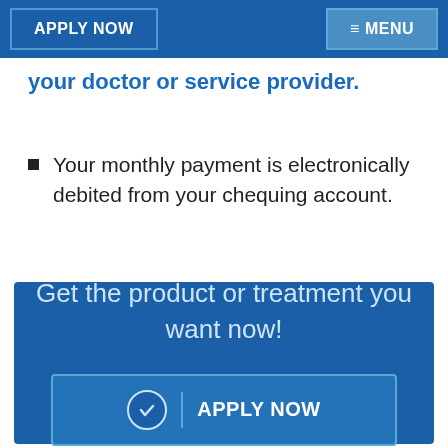APPLY NOW   ≡ MENU
your doctor or service provider.
Your monthly payment is electronically debited from your chequing account.
Get the product or treatment you want now!
✓  APPLY NOW